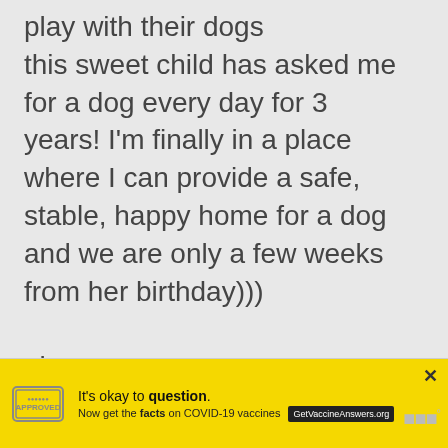play with their dogs this sweet child has asked me for a dog every day for 3 years! I'm finally in a place where I can provide a safe, stable, happy home for a dog and we are only a few weeks from her birthday)))

also
— no one near me (Tulsa, OK) has any AKK and I don't want
[Figure (other): Yellow advertisement banner for COVID-19 vaccine information. Contains a stamp-like logo on left, text 'It's okay to question. Now get the facts on COVID-19 vaccines GetVaccineAnswers.org', a close button (X), and MSNBC logo on right.]